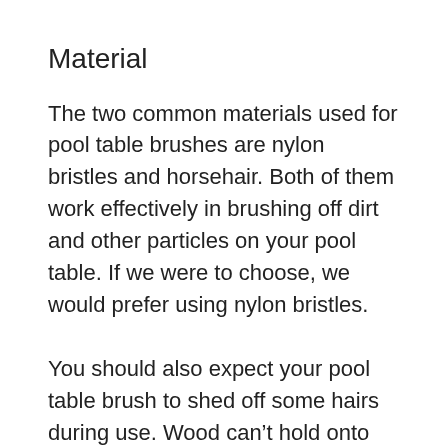Material
The two common materials used for pool table brushes are nylon bristles and horsehair. Both of them work effectively in brushing off dirt and other particles on your pool table. If we were to choose, we would prefer using nylon bristles.
You should also expect your pool table brush to shed off some hairs during use. Wood can't hold onto too much